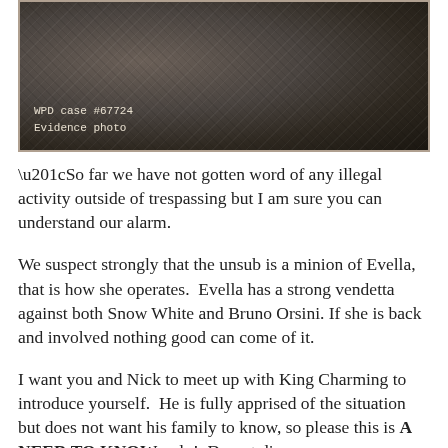[Figure (photo): Dark sepia-toned evidence photo with label 'WPD case #67724 Evidence photo' at lower left.]
“So far we have not gotten word of any illegal activity outside of trespassing but I am sure you can understand our alarm.
We suspect strongly that the unsub is a minion of Evella, that is how she operates.  Evella has a strong vendetta against both Snow White and Bruno Orsini.  If she is back and involved nothing good can come of it.
I want you and Nick to meet up with King Charming to introduce yourself.  He is fully apprised of the situation but does not want his family to know, so please this is A NEED TO KNOW only!  Do not discuss